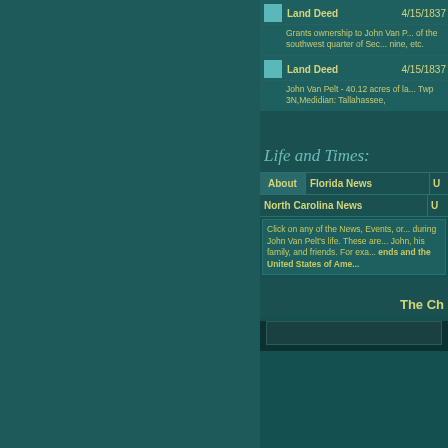| Icon | Type | Date |
| --- | --- | --- |
| [icon] | Land Deed | 4/15/1837 |
| [icon] | Land Deed | 4/15/1837 |
Grants ownership to John Van P... of the southwest quarter of Sec... nine, etc.
John Van Pelt - 40.12 acres of la... Twp 3N,Medidian: Tallahassee,
Life and Times:
| About | Florida News | U... |
| --- | --- | --- |
| North Carolina News | U... |
Click on any of the News, Events, or... during John Van Pelt's life. These are... John, his family, and friends. For exa... ends and the United States of Ame...
The Ch